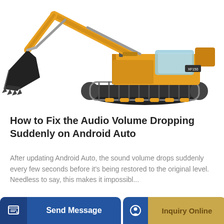[Figure (photo): Yellow excavator / construction crawler machine on white background, showing the arm/bucket on the left and the cab/tracks on the right]
How to Fix the Audio Volume Dropping Suddenly on Android Auto
After updating Android Auto, the sound volume drops suddenly every few seconds before it's being restored to the original level. Needless to say, this makes it impossibl...
Learn More
Send Message
Inquiry Online